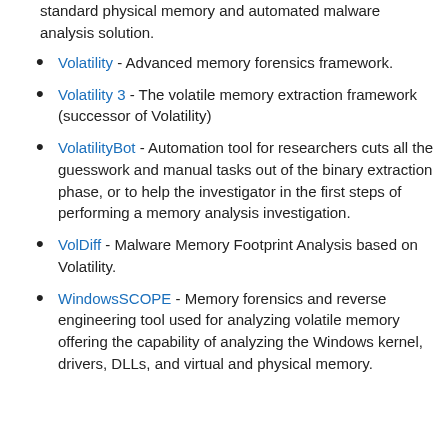standard physical memory and automated malware analysis solution.
Volatility - Advanced memory forensics framework.
Volatility 3 - The volatile memory extraction framework (successor of Volatility)
VolatilityBot - Automation tool for researchers cuts all the guesswork and manual tasks out of the binary extraction phase, or to help the investigator in the first steps of performing a memory analysis investigation.
VolDiff - Malware Memory Footprint Analysis based on Volatility.
WindowsSCOPE - Memory forensics and reverse engineering tool used for analyzing volatile memory offering the capability of analyzing the Windows kernel, drivers, DLLs, and virtual and physical memory.